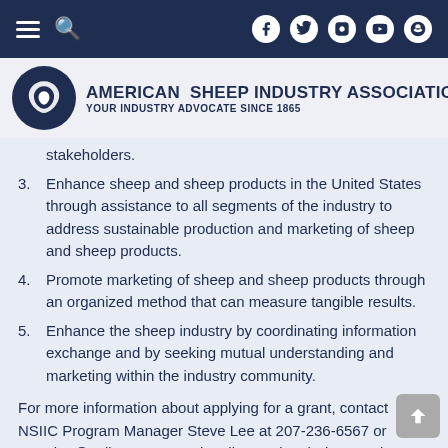American Sheep Industry Association — Your Industry Advocate Since 1865
stakeholders.
3. Enhance sheep and sheep products in the United States through assistance to all segments of the industry to address sustainable production and marketing of sheep and sheep products.
4. Promote marketing of sheep and sheep products through an organized method that can measure tangible results.
5. Enhance the sheep industry by coordinating information exchange and by seeking mutual understanding and marketing within the industry community.
For more information about applying for a grant, contact NSIIC Program Manager Steve Lee at 207-236-6567 or stevelee@nsiic.org, or send mail to National Sheep Industry Improvement Center; 1578 Spring Water Way, Highlands Ranch, CO 80129. Additional information about the sheep center is available on the NSIIC website.